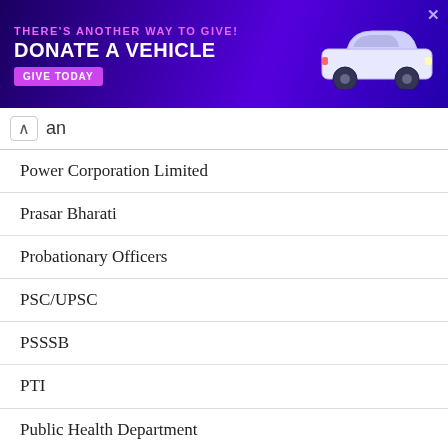[Figure (infographic): Purple advertisement banner: 'THERE'S ANOTHER WAY TO GIVE! DONATE A VEHICLE GIVE TODAY' with a white car illustration]
an
Power Corporation Limited
Prasar Bharati
Probationary Officers
PSC/UPSC
PSSSB
PTI
Public Health Department
Public Health Engineering Department
Public Service Commission
Public Works Department
Punjab & Sind Bank
Punjab National Bank